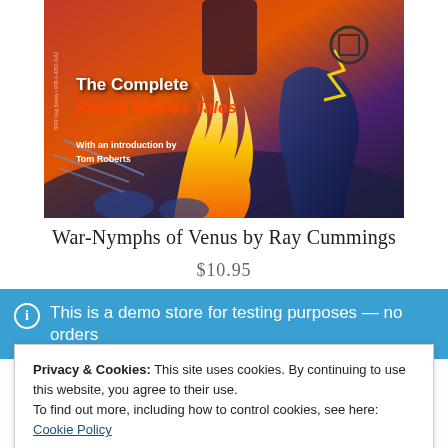[Figure (illustration): Book cover for 'War-Nymphs of Venus by Ray Cummings' showing sci-fi pulp art with flames, armored figures, and lightning. Text on cover reads 'The Complete Planet Stories Tales' and 'With an introduction by Tom Roberts'.]
War-Nymphs of Venus by Ray Cummings
$10.95
This is a demo store for testing purposes — no orders
Privacy & Cookies: This site uses cookies. By continuing to use this website, you agree to their use.
To find out more, including how to control cookies, see here: Cookie Policy
Close and accept